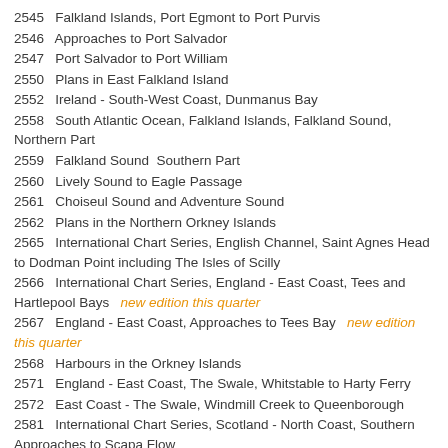2545   Falkland Islands, Port Egmont to Port Purvis
2546   Approaches to Port Salvador
2547   Port Salvador to Port William
2550   Plans in East Falkland Island
2552   Ireland - South-West Coast, Dunmanus Bay
2558   South Atlantic Ocean, Falkland Islands, Falkland Sound, Northern Part
2559   Falkland Sound  Southern Part
2560   Lively Sound to Eagle Passage
2561   Choiseul Sound and Adventure Sound
2562   Plans in the Northern Orkney Islands
2565   International Chart Series, English Channel, Saint Agnes Head to Dodman Point including The Isles of Scilly
2566   International Chart Series, England - East Coast, Tees and Hartlepool Bays   new edition this quarter
2567   England - East Coast, Approaches to Tees Bay   new edition this quarter
2568   Harbours in the Orkney Islands
2571   England - East Coast, The Swale, Whitstable to Harty Ferry
2572   East Coast - The Swale, Windmill Creek to Queenborough
2581   International Chart Series, Scotland - North Coast, Southern Approaches to Scapa Flow
2582   Plans in Falkland Sound